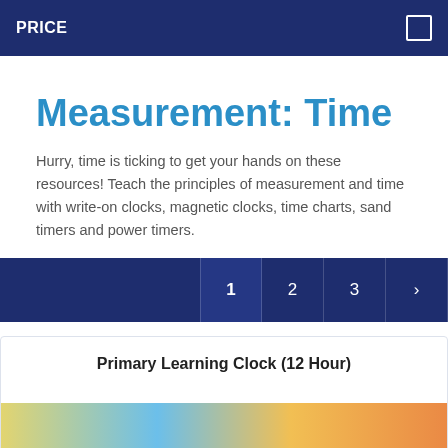PRICE
Measurement: Time
Hurry, time is ticking to get your hands on these resources! Teach the principles of measurement and time with write-on clocks, magnetic clocks, time charts, sand timers and power timers.
1
2
3
>
Primary Learning Clock (12 Hour)